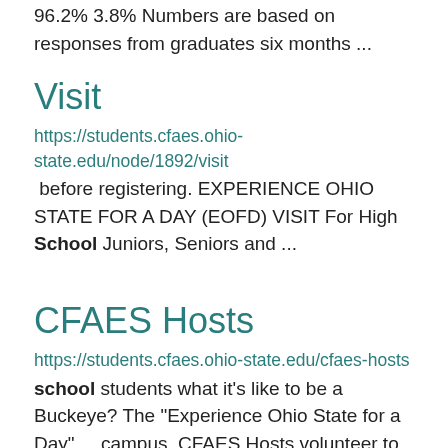96.2% 3.8% Numbers are based on responses from graduates six months ...
Visit
https://students.cfaes.ohio-state.edu/node/1892/visit
before registering. EXPERIENCE OHIO STATE FOR A DAY (EOFD) VISIT For High School Juniors, Seniors and ...
CFAES Hosts
https://students.cfaes.ohio-state.edu/cfaes-hosts
school students what it's like to be a Buckeye? The "Experience Ohio State for a Day" ... campus. CFAES Hosts volunteer to